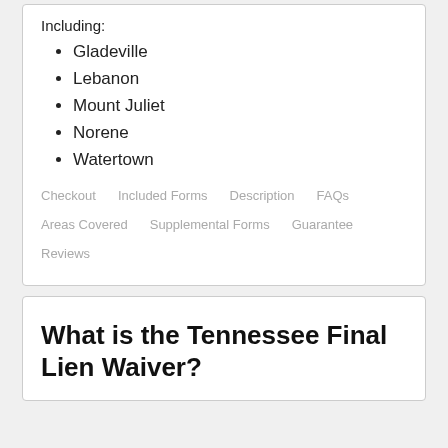Including:
Gladeville
Lebanon
Mount Juliet
Norene
Watertown
Checkout   Included Forms   Description   FAQs   Areas Covered   Supplemental Forms   Guarantee   Reviews
What is the Tennessee Final Lien Waiver?